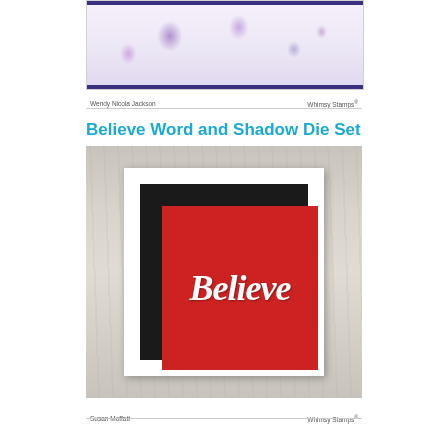[Figure (photo): Craft card with purple floral design on white background with dark navy border, by Wendy Nicola Jackson for Whimsy Stamps]
Wendy Nicola Jackson    Whimsy Stamps®
Believe Word and Shadow Die Set
[Figure (photo): Framed artwork on wooden background: white mat frame containing a black inner mat with a red card displaying the word 'Believe' in white cursive lettering, by Susan Moffatt for Whimsy Stamps]
Susan Moffatt    Whimsy Stamps®